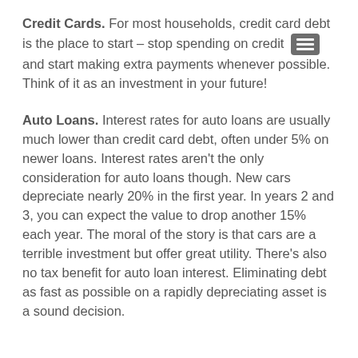Credit Cards. For most households, credit card debt is the place to start – stop spending on credit and start making extra payments whenever possible. Think of it as an investment in your future!
Auto Loans. Interest rates for auto loans are usually much lower than credit card debt, often under 5% on newer loans. Interest rates aren't the only consideration for auto loans though. New cars depreciate nearly 20% in the first year. In years 2 and 3, you can expect the value to drop another 15% each year. The moral of the story is that cars are a terrible investment but offer great utility. There's also no tax benefit for auto loan interest. Eliminating debt as fast as possible on a rapidly depreciating asset is a sound decision.